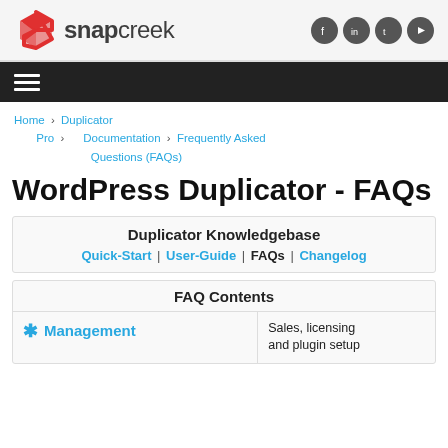snapcreek [logo with social icons: Facebook, LinkedIn, Twitter, YouTube]
[Figure (logo): Snap Creek logo: red diamond S icon and snapcreek text in dark gray with social media icons (Facebook, LinkedIn, Twitter, YouTube) in dark circle buttons on the right]
[Figure (screenshot): Dark navigation bar with hamburger menu icon (three white horizontal lines)]
Home > Duplicator Pro > Documentation > Frequently Asked Questions (FAQs)
WordPress Duplicator - FAQs
Duplicator Knowledgebase
Quick-Start | User-Guide | FAQs | Changelog
FAQ Contents
Management
Sales, licensing and plugin setup